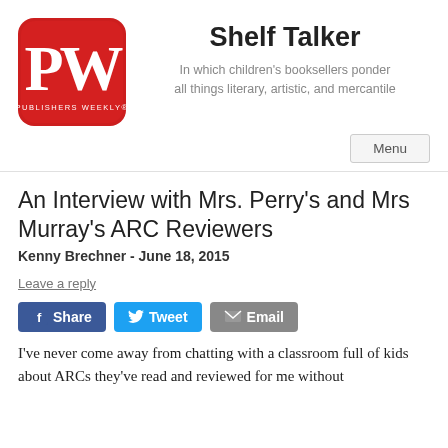[Figure (logo): Publishers Weekly PW logo: red rounded square with white PW letters and 'PUBLISHERS WEEKLY' text]
Shelf Talker
In which children's booksellers ponder all things literary, artistic, and mercantile
Menu
An Interview with Mrs. Perry's and Mrs Murray's ARC Reviewers
Kenny Brechner - June 18, 2015
Leave a reply
Share Tweet Email
I've never come away from chatting with a classroom full of kids about ARCs they've read and reviewed for me without